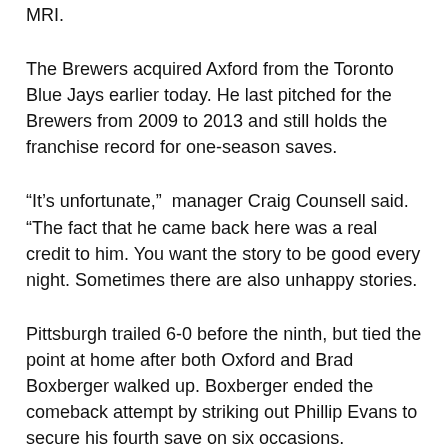MRI.
The Brewers acquired Axford from the Toronto Blue Jays earlier today. He last pitched for the Brewers from 2009 to 2013 and still holds the franchise record for one-season saves.
“It’s unfortunate,” manager Craig Counsell said. “The fact that he came back here was a real credit to him. You want the story to be good every night. Sometimes there are also unhappy stories.
Pittsburgh trailed 6-0 before the ninth, but tied the point at home after both Oxford and Brad Boxberger walked up. Boxberger ended the comeback attempt by striking out Phillip Evans to secure his fourth save on six occasions.
Bryse Wilson (2-4) worked five innings and allowed just one run in his debut with the Pirates, but the Brewers had a blast with the Pittsburgh relievers box after he left.